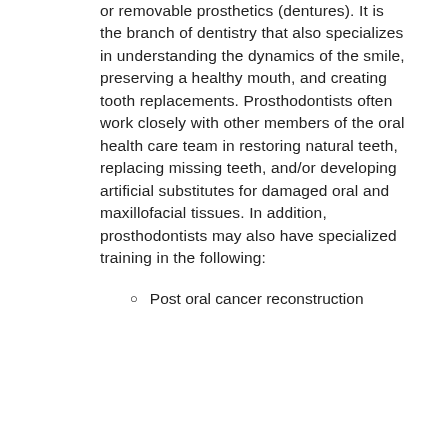or removable prosthetics (dentures). It is the branch of dentistry that also specializes in understanding the dynamics of the smile, preserving a healthy mouth, and creating tooth replacements. Prosthodontists often work closely with other members of the oral health care team in restoring natural teeth, replacing missing teeth, and/or developing artificial substitutes for damaged oral and maxillofacial tissues. In addition, prosthodontists may also have specialized training in the following:
Post oral cancer reconstruction